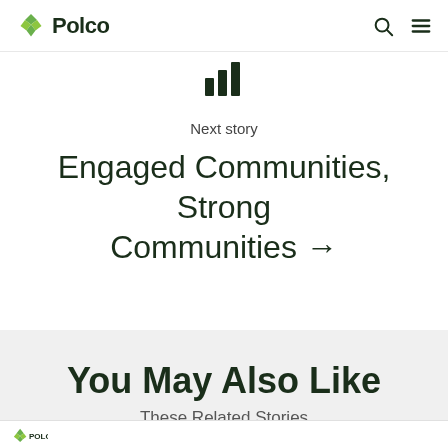Polco
[Figure (illustration): Small bar chart icon]
Next story
Engaged Communities, Strong Communities →
You May Also Like
These Related Stories